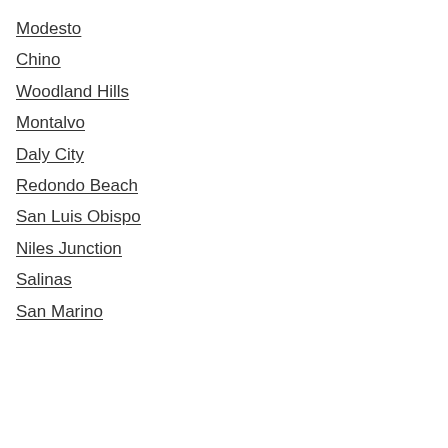Modesto
Chino
Woodland Hills
Montalvo
Daly City
Redondo Beach
San Luis Obispo
Niles Junction
Salinas
San Marino